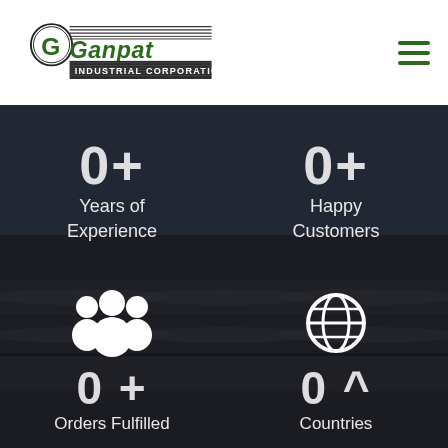[Figure (logo): Ganpat Industrial Corporation logo with green stylized text and G emblem]
[Figure (infographic): Industrial pipes background with dark overlay showing 4 statistics: Years of Experience, Happy Customers, Orders Fulfilled, Countries. Counter animations show 0+ for each with icons.]
Years of Experience
Happy Customers
Orders Fulfilled
Countries